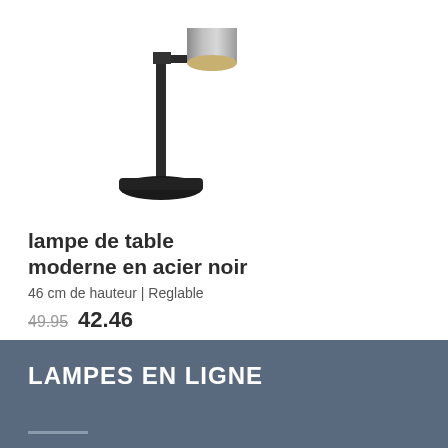[Figure (photo): A modern black steel table lamp with adjustable cylindrical nickel-colored lamp head on a round black base, photographed on white background]
lampe de table moderne en acier noir
46 cm de hauteur | Reglable
49.95  42.46
✓ En stock
LAMPES EN LIGNE